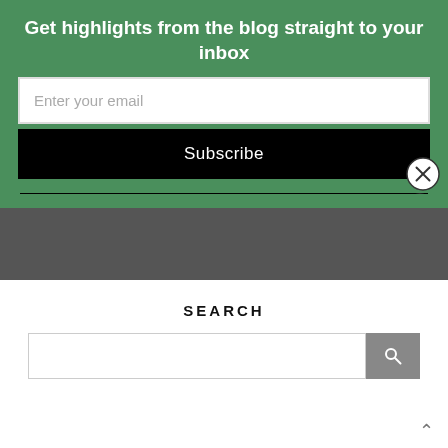Get highlights from the blog straight to your inbox
Enter your email
Subscribe
exactly as planned and am fuelled by a passion to amplify the voices of those on the margins...
oh, and coffee...lots of coffee.
SEARCH